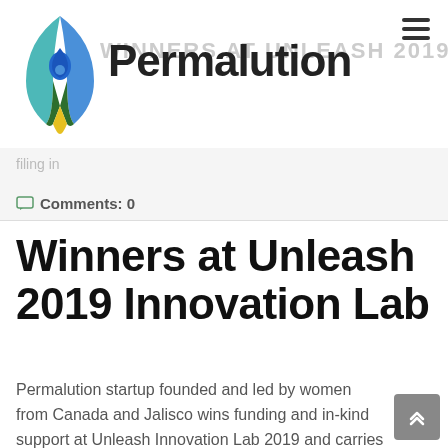[Figure (logo): Permalution logo: a stylized water droplet shape composed of blue, green, teal, and yellow-gold triangular/leaf segments, with a blue water droplet in the center]
Permalution
Comments: 0
Winners at Unleash 2019 Innovation Lab
Permalution startup founded and led by women from Canada and Jalisco wins funding and in-kind support at Unleash Innovation Lab 2019 and carries operations in